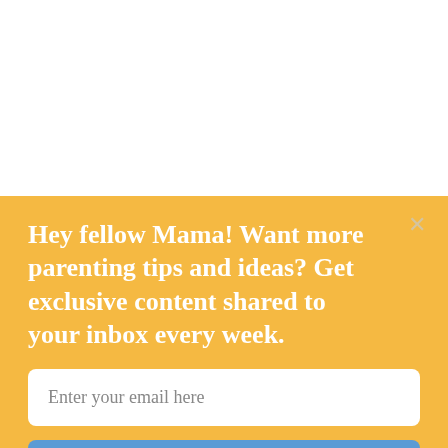Hey fellow Mama! Want more parenting tips and ideas? Get exclusive content shared to your inbox every week.
Enter your email here
Give me more ideas!